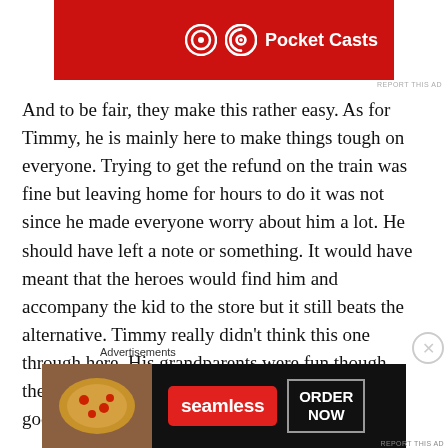[Figure (screenshot): Pocket Casts advertisement banner — red background with Pocket Casts logo and text in white]
And to be fair, they make this rather easy. As for Timmy, he is mainly here to make things tough on everyone. Trying to get the refund on the train was fine but leaving home for hours to do it was not since he made everyone worry about him a lot. He should have left a note or something. It would have meant that the heroes would find him and accompany the kid to the store but it still beats the alternative. Timmy really didn’t think this one through here. His grandparents were fun though, they don’t have much of a poker face but they are good with the reactions.
Advertisements
[Figure (screenshot): Seamless food delivery advertisement — dark background with pizza image, Seamless logo, and ORDER NOW button]